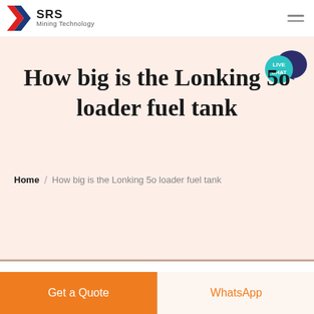SRS Mining Technology
How big is the Lonking 5o loader fuel tank
Home / How big is the Lonking 5o loader fuel tank
[Figure (illustration): Partial view of a yellow loader/construction machine at the bottom of the page]
Get a Quote
WhatsApp